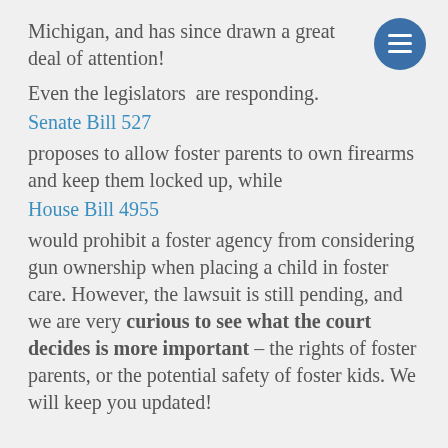Michigan, and has since drawn a great deal of attention!
Even the legislators are responding.
Senate Bill 527
proposes to allow foster parents to own firearms and keep them locked up, while
House Bill 4955
would prohibit a foster agency from considering gun ownership when placing a child in foster care. However, the lawsuit is still pending, and we are very curious to see what the court decides is more important – the rights of foster parents, or the potential safety of foster kids. We will keep you updated!